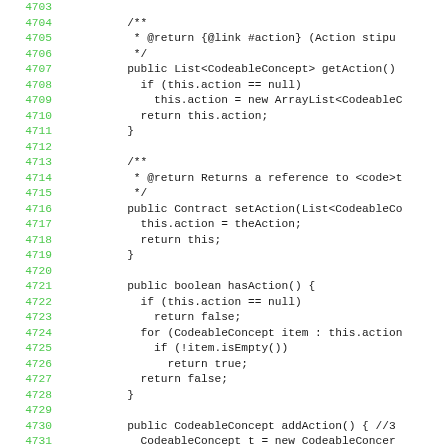[Figure (screenshot): Source code listing in Java, lines 4703-4731, showing getAction(), setAction(), hasAction(), and addAction() methods with line numbers in green and code in monospace black font on white background.]